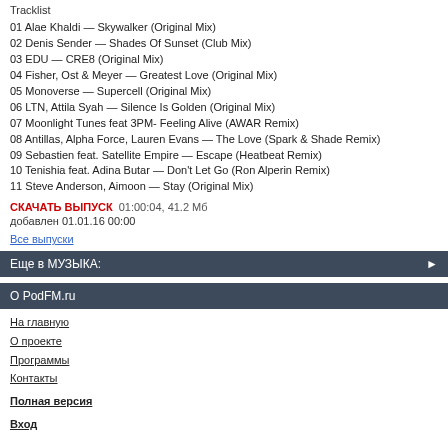Tracklist
01 Alae Khaldi — Skywalker (Original Mix)
02 Denis Sender — Shades Of Sunset (Club Mix)
03 EDU — CRE8 (Original Mix)
04 Fisher, Ost & Meyer — Greatest Love (Original Mix)
05 Monoverse — Supercell (Original Mix)
06 LTN, Attila Syah — Silence Is Golden (Original Mix)
07 Moonlight Tunes feat 3PM- Feeling Alive (AWAR Remix)
08 Antillas, Alpha Force, Lauren Evans — The Love (Spark & Shade Remix)
09 Sebastien feat. Satellite Empire — Escape (Heatbeat Remix)
10 Tenishia feat. Adina Butar — Don't Let Go (Ron Alperin Remix)
11 Steve Anderson, Aimoon — Stay (Original Mix)
СКАЧАТЬ ВЫПУСК   01:00:04, 41.2 Мб
добавлен 01.01.16 00:00
Все выпуски
Еще в МУЗЫКА:
О PodFM.ru
На главную
О проекте
Программы
Контакты
Полная версия
Вход